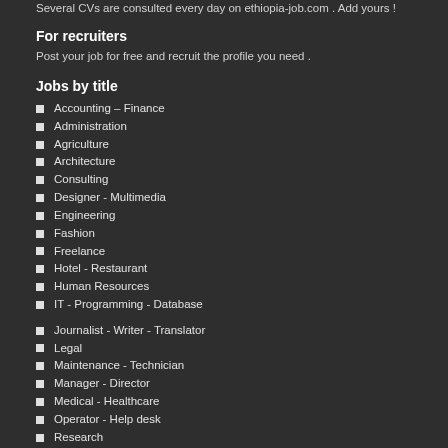Several CVs are consulted every day on ethiopia-job.com . Add yours !
For recruiters
Post your job for free and recruit the profile you need .
Jobs by title
Accounting – Finance
Administration
Agriculture
Architecture
Consulting
Designer - Multimedia
Engineering
Fashion
Freelance
Hotel - Restaurant
Human Resources
IT - Programming - Database
Journalist - Writer - Translator
Legal
Maintenance - Technician
Manager - Director
Medical - Healthcare
Operator - Help desk
Research
Sales - Marketing
Secretarial
Teaching - Education - Training